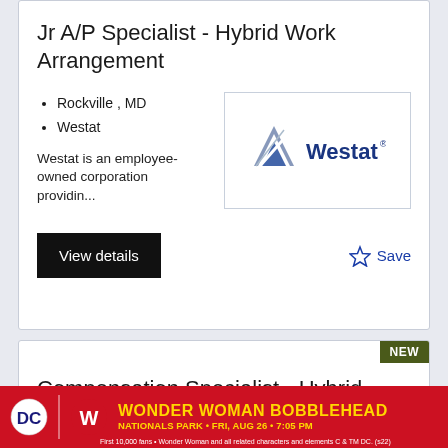Jr A/P Specialist - Hybrid Work Arrangement
Rockville , MD
Westat
Westat is an employee-owned corporation providin...
[Figure (logo): Westat company logo with blue triangle/chevron mark and blue 'Westat' text]
View details
Save
Compensation Specialist - Hybrid Work Arrangement
Rockville , MD
[Figure (logo): Westat company logo partially visible]
[Figure (illustration): Wonder Woman Bobblehead advertisement banner. DC logo, Nationals W logo. Text: WONDER WOMAN BOBBLEHEAD, NATIONALS PARK • FRI, AUG 26 • 7:05 PM. Fine print: First 10,000 fans • Wonder Woman and all related characters and elements C & TM DC. (s22)]